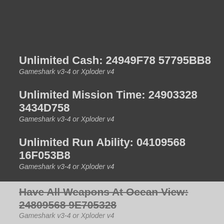Unlimited Cash: 24949F78 57795BB8
Gameshark v3-4 or Xploder v4
Unlimited Mission Time: 24903328 3434D758
Gameshark v3-4 or Xploder v4
Unlimited Run Ability: 04109568 16F053B8
Gameshark v3-4 or Xploder v4
Have All Packages: DE428F5A BCA99BE7
Gameshark v1 or Action Replay v1
Have All Weapons At Hideout: 24809568 9E705328
Gameshark v3-4 or Xploder v4
Have All Weapons At Ocean View: 24809568 9E705328
Gameshark v3-4 or Xploder v4